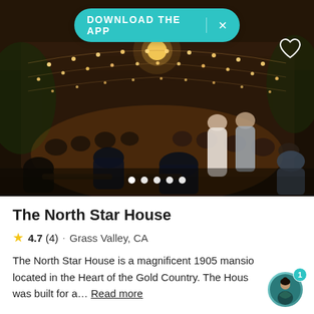[Figure (photo): Outdoor evening wedding reception at The North Star House with string lights, guests seated at tables, bride and groom standing, brick building in background]
The North Star House
4.7 (4) · Grass Valley, CA
The North Star House is a magnificent 1905 mansion located in the Heart of the Gold Country. The House was built for a... Read more